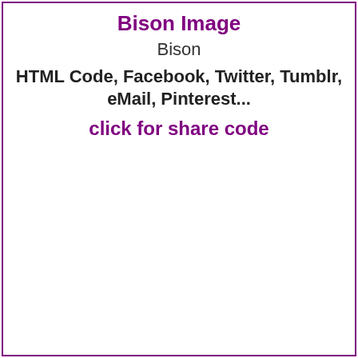Bison Image
Bison
HTML Code, Facebook, Twitter, Tumblr, eMail, Pinterest...
click for share code